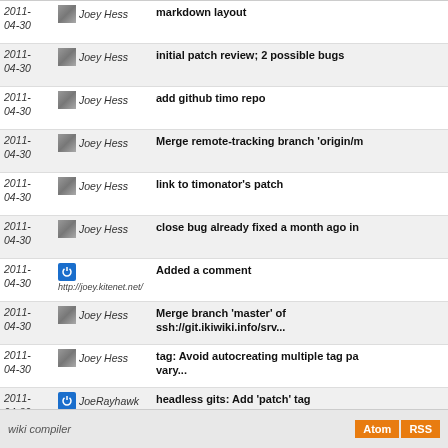| Date | Author | Message |
| --- | --- | --- |
| 2011-04-30 | Joey Hess | markdown layout |
| 2011-04-30 | Joey Hess | initial patch review; 2 possible bugs |
| 2011-04-30 | Joey Hess | add github timo repo |
| 2011-04-30 | Joey Hess | Merge remote-tracking branch 'origin/m |
| 2011-04-30 | Joey Hess | link to timonator's patch |
| 2011-04-30 | Joey Hess | close bug already fixed a month ago in |
| 2011-04-30 | http://joey.kitenet.net/ | Added a comment |
| 2011-04-30 | Joey Hess | Merge branch 'master' of ssh://git.ikiwiki.info/srv... |
| 2011-04-30 | Joey Hess | tag: Avoid autocreating multiple tag pa vary... |
| 2011-04-30 | JoeRayhawk | headless gits: Add 'patch' tag |
| 2011-04-30 | Joey Hess | Merge branch 'master' of ssh://git.ikiwiki.info/srv... |
next
wiki compiler  Atom RSS